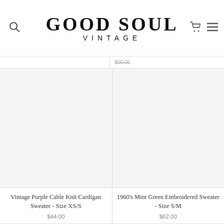GOOD SOUL VINTAGE
$00.00
[Figure (photo): Blank product image placeholder for Vintage Purple Cable Knit Cardigan Sweater]
Vintage Purple Cable Knit Cardigan Sweater - Size XS/S
$44.00
[Figure (photo): Blank product image placeholder for 1960's Mint Green Embroidered Sweater]
1960's Mint Green Embroidered Sweater - Size S/M
$62.00